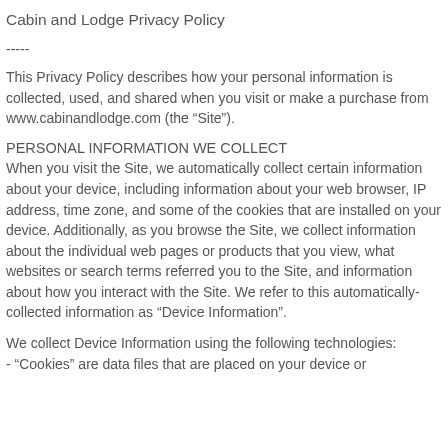Cabin and Lodge Privacy Policy
-----
This Privacy Policy describes how your personal information is collected, used, and shared when you visit or make a purchase from www.cabinandlodge.com (the “Site”).
PERSONAL INFORMATION WE COLLECT
When you visit the Site, we automatically collect certain information about your device, including information about your web browser, IP address, time zone, and some of the cookies that are installed on your device. Additionally, as you browse the Site, we collect information about the individual web pages or products that you view, what websites or search terms referred you to the Site, and information about how you interact with the Site. We refer to this automatically-collected information as “Device Information”.
We collect Device Information using the following technologies:
- “Cookies” are data files that are placed on your device or